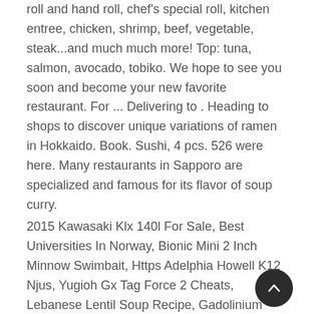roll and hand roll, chef's special roll, kitchen entree, chicken, shrimp, beef, vegetable, steak...and much much more! Top: tuna, salmon, avocado, tobiko. We hope to see you soon and become your new favorite restaurant. For ... Delivering to . Heading to shops to discover unique variations of ramen in Hokkaido. Book. Sushi, 4 pcs. 526 were here. Many restaurants in Sapporo are specialized and famous for its flavor of soup curry.
2015 Kawasaki Klx 140l For Sale, Best Universities In Norway, Bionic Mini 2 Inch Minnow Swimbait, Https Adelphia Howell K12 Njus, Yugioh Gx Tag Force 2 Cheats, Lebanese Lentil Soup Recipe, Gadolinium